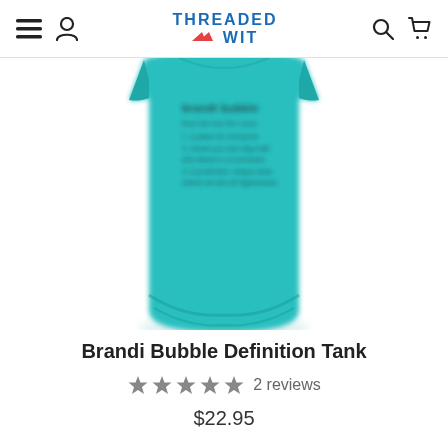Threaded Wit — navigation bar with hamburger menu, user icon, logo, search and cart icons
[Figure (photo): Product photo of a teal tank top with 'brandi bubble' definition text printed on it, shown cropped from the midsection down]
Brandi Bubble Definition Tank
★★★★★ 2 reviews
$22.95